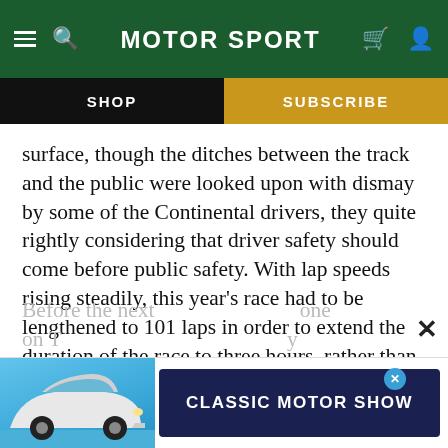MotorSport — navigation header with Shop and Subscribe nav bar
surface, though the ditches between the track and the public were looked upon with dismay by some of the Continental drivers, they quite rightly considering that driver safety should come before public safety. With lap speeds rising steadily, this year's race had to be lengthened to 101 laps in order to extend the duration of the race to three hours, rather than choosing the alternative of 500 kilometres as laid down in FIA regulations.
Before the next was a continuing with one on T... y
[Figure (advertisement): Classic Motor Show advertisement banner with a blue Porsche car image on the left and 'CLASSIC MOTOR SHOW' text on a dark navy background]